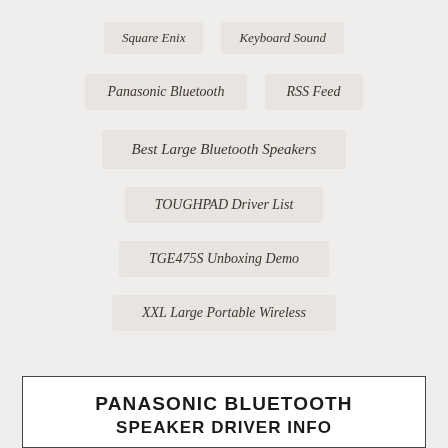Square Enix
Keyboard Sound
Panasonic Bluetooth
RSS Feed
Best Large Bluetooth Speakers
TOUGHPAD Driver List
TGE475S Unboxing Demo
XXL Large Portable Wireless
PANASONIC BLUETOOTH SPEAKER DRIVER INFO